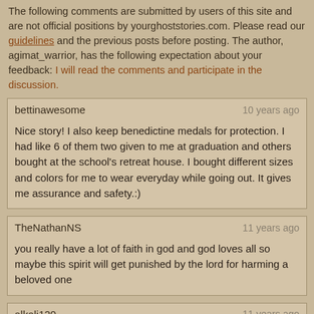The following comments are submitted by users of this site and are not official positions by yourghoststories.com. Please read our guidelines and the previous posts before posting. The author, agimat_warrior, has the following expectation about your feedback: I will read the comments and participate in the discussion.
bettinawesome
10 years ago
Nice story! I also keep benedictine medals for protection. I had like 6 of them two given to me at graduation and others bought at the school's retreat house. I bought different sizes and colors for me to wear everyday while going out. It gives me assurance and safety.:)
TheNathanNS
11 years ago
you really have a lot of faith in god and god loves all so maybe this spirit will get punished by the lord for harming a beloved one
alkali120
11 years ago
What you saw might be the same thing that attacked my classmate during our retreat during my High School days... Good thing nothing happened...